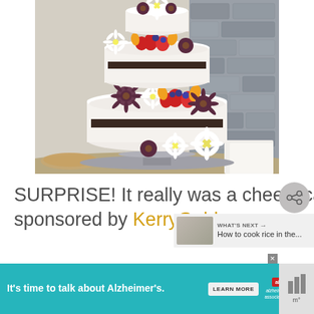[Figure (photo): A multi-tiered naked cheesecake decorated with white daisies, dark chrysanthemums, strawberries, blueberries, and orange mango slices, displayed on a cake stand against a stone wall background.]
SURPRISE! It really was a cheesecake….a Brie cheese cake sponsored by KerryGold.
[Figure (other): What's Next panel showing a thumbnail image of rice with text: How to cook rice in the...]
[Figure (other): Advertisement banner: It's time to talk about Alzheimer's. LEARN MORE. Alzheimer's Association logo.]